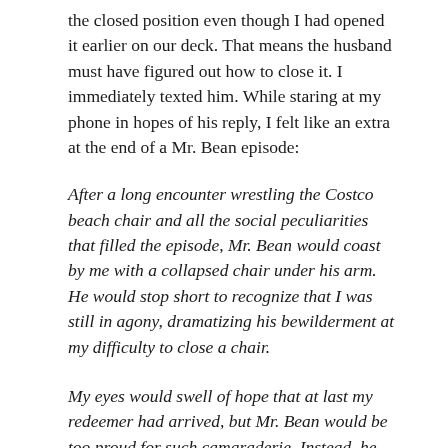the closed position even though I had opened it earlier on our deck. That means the husband must have figured out how to close it. I immediately texted him. While staring at my phone in hopes of his reply, I felt like an extra at the end of a Mr. Bean episode:
After a long encounter wrestling the Costco beach chair and all the social peculiarities that filled the episode, Mr. Bean would coast by me with a collapsed chair under his arm. He would stop short to recognize that I was still in agony, dramatizing his bewilderment at my difficulty to close a chair.
My eyes would swell of hope that at last my redeemer had arrived, but Mr. Bean would be too proud for such camaraderie. Instead, he would revel in the moment, clenching his closed chair against his chest while doing his little smirk and head wobble. His